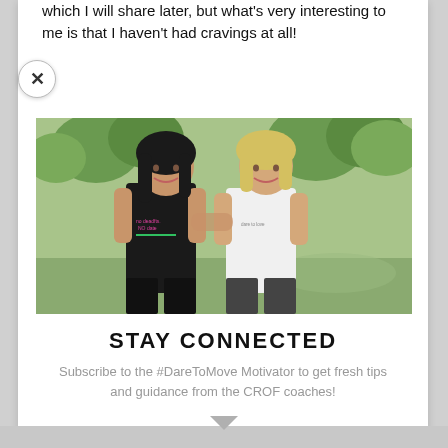which I will share later, but what's very interesting to me is that I haven't had cravings at all!
[Figure (photo): Two women in fitness crop tops standing together outdoors in a park setting. One has dark hair wearing a black top, the other has blonde hair wearing a white top.]
STAY CONNECTED
Subscribe to the #DareToMove Motivator to get fresh tips and guidance from the CROF coaches!